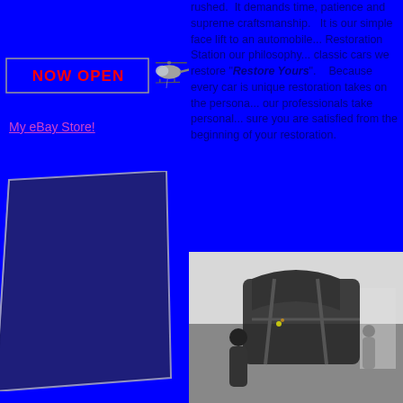[Figure (photo): NOW OPEN banner with helicopter image on blue background]
My eBay Store!
[Figure (illustration): Blue tilted card/panel shape on blue background]
rushed. It demands time, patience and supreme craftsmanship. It is our ... simple face lift to an automobile... Restoration Station our philosophy... classic cars we restore "Restore Yours". Because every car is unique restoration takes on the persona... our professionals take personal... sure you are satisfied from the beginning of your restoration.
[Figure (photo): Black and white photo of workers restoring a car frame in a workshop]